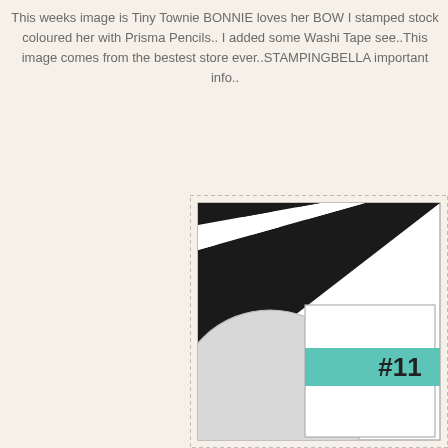This weeks image is Tiny Townie BONNIE loves her BOW I stamped stock coloured her with Prisma Pencils.. I added some Washi Tape see..This image comes from the bestest store ever..STAMPINGBELLA important info..
[Figure (illustration): Card sketch/layout diagram showing diagonal black stripes in the upper-left area, a large light gray circle in the lower-left, a white square overlapping in the lower-right with a teal/turquoise rectangle labeled #11, all inside a dotted-border outer frame and a solid-border inner frame.]